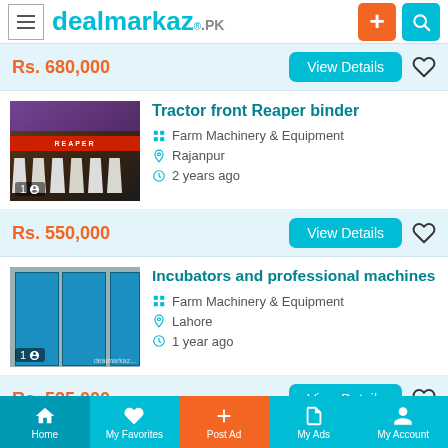dealmarkaz.PK
Rs. 680,000
View Details
Tractor front Reaper binder
Farm Machinery & Equipment
Rajanpur
2 years ago
Rs. 550,000
View Details
Incubators and professional machines
Farm Machinery & Equipment
Lahore
1 year ago
Rs. 525,000
View Details
Home  My Favorites  Post Ad  My Ads  My Account